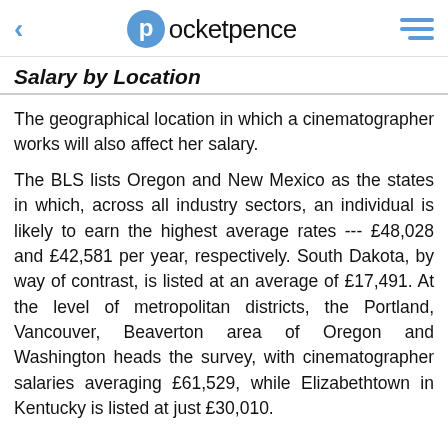pocketpence
Salary by Location
The geographical location in which a cinematographer works will also affect her salary.
The BLS lists Oregon and New Mexico as the states in which, across all industry sectors, an individual is likely to earn the highest average rates --- £48,028 and £42,581 per year, respectively. South Dakota, by way of contrast, is listed at an average of £17,491. At the level of metropolitan districts, the Portland, Vancouver, Beaverton area of Oregon and Washington heads the survey, with cinematographer salaries averaging £61,529, while Elizabethtown in Kentucky is listed at just £30,010.